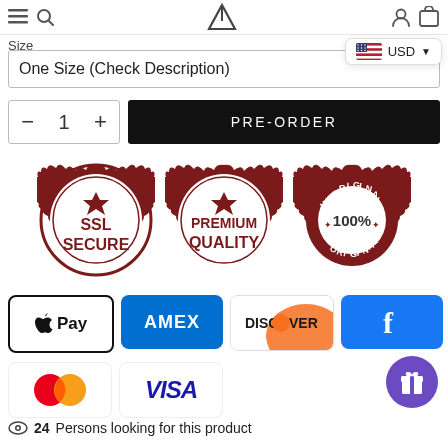Size  USD
Size
One Size (Check Description)
- 1 + PRE-ORDER
[Figure (illustration): Three circular trust badge stamps: SSL Secure, Premium Quality, and 100% Original — all in dark red/maroon color on white background]
[Figure (illustration): Payment method logos: Apple Pay, AMEX, Discover, Facebook Pay (f), Mastercard, VISA]
24 Persons looking for this product